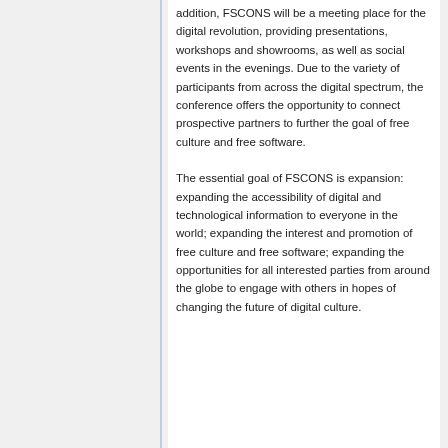addition, FSCONS will be a meeting place for the digital revolution, providing presentations, workshops and showrooms, as well as social events in the evenings. Due to the variety of participants from across the digital spectrum, the conference offers the opportunity to connect prospective partners to further the goal of free culture and free software.
The essential goal of FSCONS is expansion: expanding the accessibility of digital and technological information to everyone in the world; expanding the interest and promotion of free culture and free software; expanding the opportunities for all interested parties from around the globe to engage with others in hopes of changing the future of digital culture.